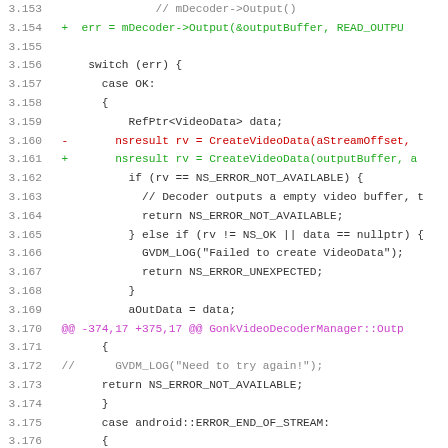[Figure (screenshot): Source code diff view showing C++ code for a video decoder manager, with line numbers 3.153-3.185, additions in green and removals in red, diff header in purple, and regular code in dark/gray.]